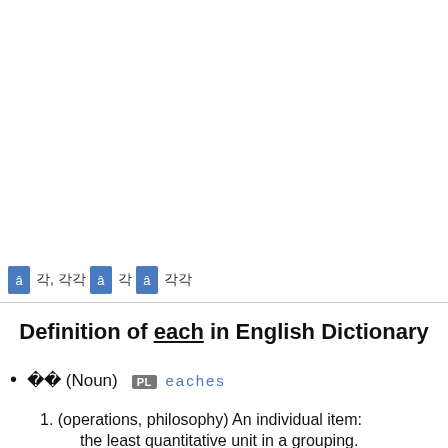🔵 각, 각각 🔵 각 🔵 각각
Definition of each in English Dictionary
각각 (Noun)  PL  eaches
1. (operations, philosophy) An individual item: the least quantitative unit in a grouping.